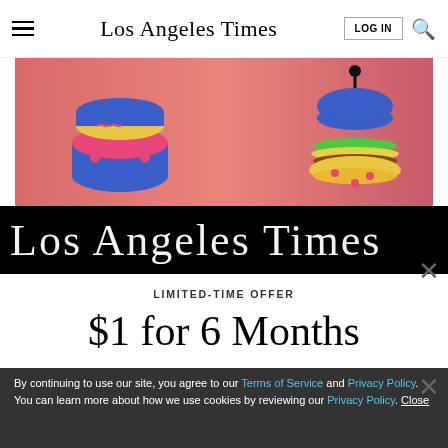Los Angeles Times
[Figure (illustration): Colorful cartoon food illustration on pink/salmon gradient background showing sushi/food items on left and a hamburger on right]
[Figure (logo): Los Angeles Times logo in white blackletter font on black background bar]
LIMITED-TIME OFFER
$1 for 6 Months
SUBSCRIBE NOW
By continuing to use our site, you agree to our Terms of Service and Privacy Policy. You can learn more about how we use cookies by reviewing our Privacy Policy. Close